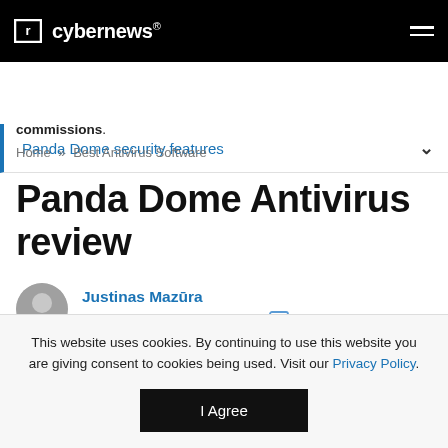cybernews®
Panda Dome security features
commissions.
Home » Best Antivirus Software
Panda Dome Antivirus review
Justinas Mazūra
Updated on: 03 August 2022
This website uses cookies. By continuing to use this website you are giving consent to cookies being used. Visit our Privacy Policy.
I Agree